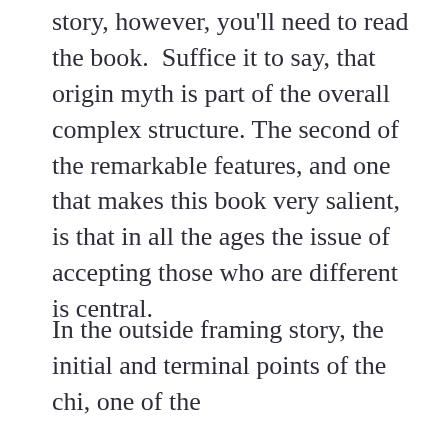story, however, you'll need to read the book.  Suffice it to say, that origin myth is part of the overall complex structure. The second of the remarkable features, and one that makes this book very salient, is that in all the ages the issue of accepting those who are different is central.
In the outside framing story, the initial and terminal points of the chi, one of the